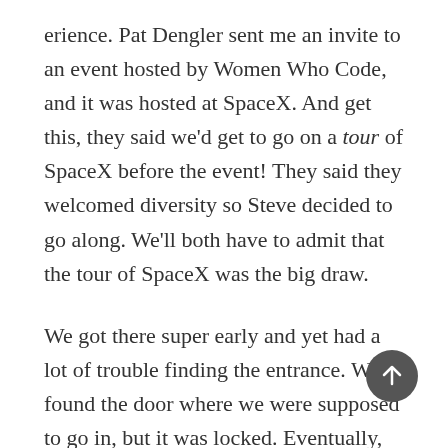erience. Pat Dengler sent me an invite to an event hosted by Women Who Code, and it was hosted at SpaceX. And get this, they said we'd get to go on a tour of SpaceX before the event! They said they welcomed diversity so Steve decided to go along. We'll both have to admit that the tour of SpaceX was the big draw.
We got there super early and yet had a lot of trouble finding the entrance. We found the door where we were supposed to go in, but it was locked. Eventually, the door opened and I asked the gentleman coming out if he knew if we were at the right door for the tour. He told us that he was pretty sure all tours were canceled that day. We were bummed but not sure he